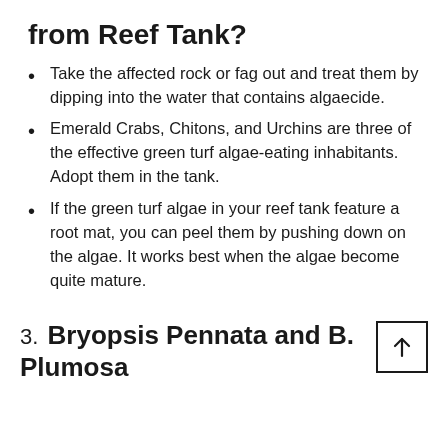from Reef Tank?
Take the affected rock or fag out and treat them by dipping into the water that contains algaecide.
Emerald Crabs, Chitons, and Urchins are three of the effective green turf algae-eating inhabitants. Adopt them in the tank.
If the green turf algae in your reef tank feature a root mat, you can peel them by pushing down on the algae. It works best when the algae become quite mature.
3. Bryopsis Pennata and B. Plumosa